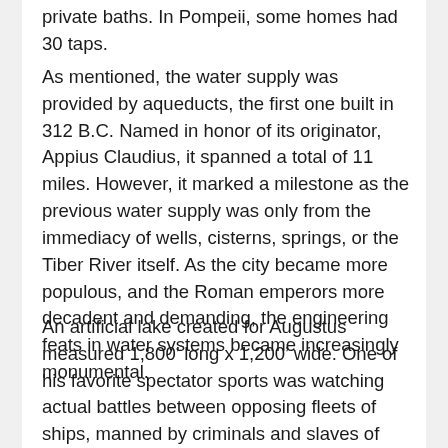private baths. In Pompeii, some homes had 30 taps.
As mentioned, the water supply was provided by aqueducts, the first one built in 312 B.C. Named in honor of its originator, Appius Claudius, it spanned a total of 11 miles. However, it marked a milestone as the previous water supply was only from the immediacy of wells, cisterns, springs, or the Tiber River itself. As the city became more populous, and the Roman emperors more decadent and demanding, the engineering feats in water systems became increasingly monumental.
An artificial lake created for Augustus measured 1,800’ long x 1,200’ wide. One of his favorite spectator sports was watching actual battles between opposing fleets of ships, manned by criminals and slaves of the emperors. By Nero’s time of 37-68 A.D., a “sea” fight for his amusement would utilize 19,000 men on 100 ships. They fought in gladiator fashion, i.e., until one was killed